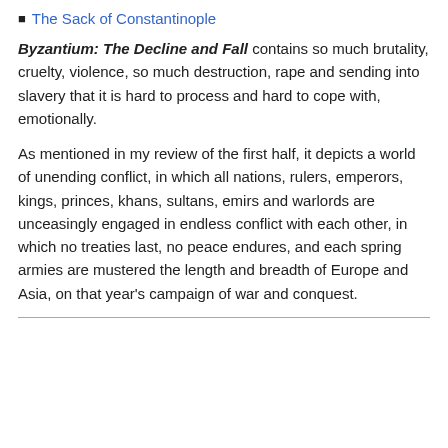The Sack of Constantinople
Byzantium: The Decline and Fall contains so much brutality, cruelty, violence, so much destruction, rape and sending into slavery that it is hard to process and hard to cope with, emotionally.
As mentioned in my review of the first half, it depicts a world of unending conflict, in which all nations, rulers, emperors, kings, princes, khans, sultans, emirs and warlords are unceasingly engaged in endless conflict with each other, in which no treaties last, no peace endures, and each spring armies are mustered the length and breadth of Europe and Asia, on that year's campaign of war and conquest.